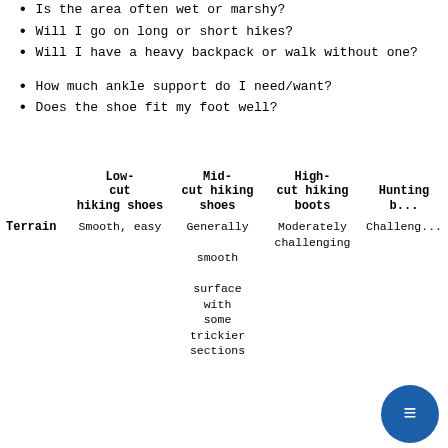Is the area often wet or marshy?
Will I go on long or short hikes?
Will I have a heavy backpack or walk without one?
How much ankle support do I need/want?
Does the shoe fit my foot well?
|  | Low-cut hiking shoes | Mid-cut hiking shoes | High-cut hiking boots | Hunting boots |
| --- | --- | --- | --- | --- |
| Terrain | Smooth, easy | Generally smooth surface with some trickier sections | Moderately challenging | Challenging |